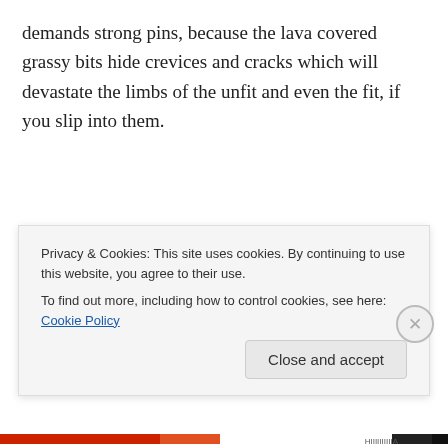demands strong pins, because the lava covered grassy bits hide crevices and cracks which will devastate the limbs of the unfit and even the fit, if you slip into them.
Truth be told, I was a worried soldier, and ventures onto Geldingey, Arnatvatn, Hoffstadaey, and Hoffsstadir, did nothing to quell my ageing concern for my latest 'concern'…my right knee! Please understand that wading
Privacy & Cookies: This site uses cookies. By continuing to use this website, you agree to their use.
To find out more, including how to control cookies, see here: Cookie Policy